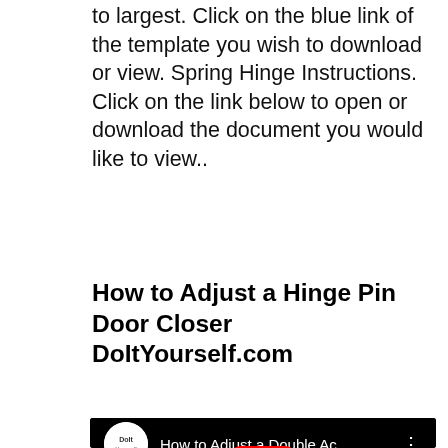to largest. Click on the blue link of the template you wish to download or view. Spring Hinge Instructions. Click on the link below to open or download the document you would like to view..
How to Adjust a Hinge Pin Door Closer DoItYourself.com
[Figure (screenshot): YouTube video thumbnail showing a person's hands holding a black hinge pin door closer mechanism over a wooden surface. The video is titled 'How to Adjust a Double Ac...' with a DoItYourself.com channel avatar. A red YouTube play button is overlaid in the center.]